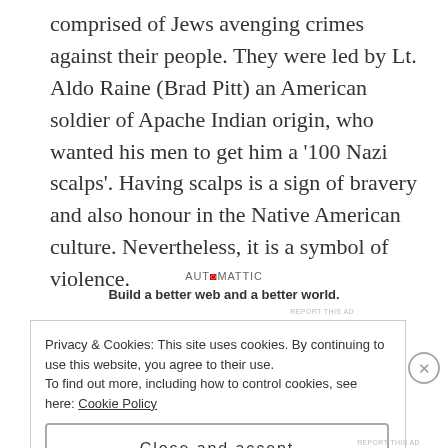comprised of Jews avenging crimes against their people. They were led by Lt. Aldo Raine (Brad Pitt) an American soldier of Apache Indian origin, who wanted his men to get him a '100 Nazi scalps'. Having scalps is a sign of bravery and also honour in the Native American culture. Nevertheless, it is a symbol of violence.
[Figure (other): Automattic advertisement: logo text 'AUTOMATTIC' with red @ symbol, tagline 'Build a better web and a better world.' with 'REPORT THIS AD' text]
Privacy & Cookies: This site uses cookies. By continuing to use this website, you agree to their use.
To find out more, including how to control cookies, see here: Cookie Policy
Close and accept